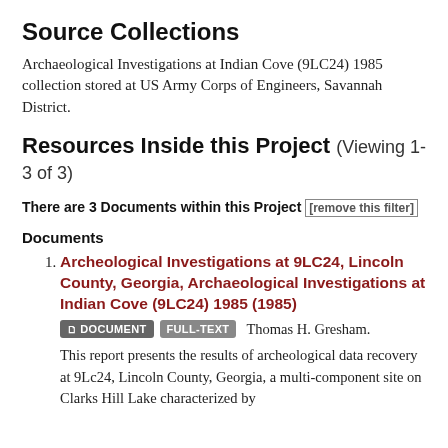Source Collections
Archaeological Investigations at Indian Cove (9LC24) 1985 collection stored at US Army Corps of Engineers, Savannah District.
Resources Inside this Project (Viewing 1-3 of 3)
There are 3 Documents within this Project [remove this filter]
Documents
Archeological Investigations at 9LC24, Lincoln County, Georgia, Archaeological Investigations at Indian Cove (9LC24) 1985 (1985) — DOCUMENT FULL-TEXT Thomas H. Gresham. This report presents the results of archeological data recovery at 9Lc24, Lincoln County, Georgia, a multi-component site on Clarks Hill Lake characterized by